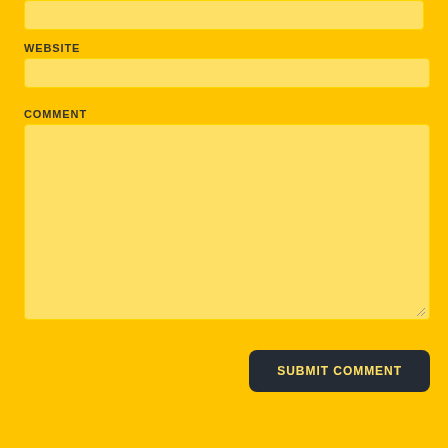WEBSITE
[Figure (screenshot): Website input field (empty text input box with light yellow background)]
COMMENT
[Figure (screenshot): Comment textarea (large empty text area with light yellow background and resize handle)]
SUBMIT COMMENT